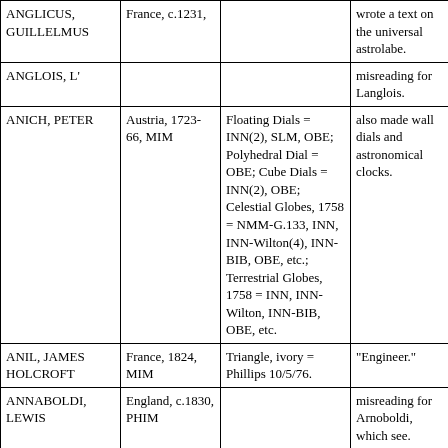| Name | Country/Date | Instruments | Notes | Location |
| --- | --- | --- | --- | --- |
| ANGLICUS, GUILLELMUS | France, c.1231, |  | wrote a text on the universal astrolabe. | Marseille |
| ANGLOIS, L' |  |  | misreading for Langlois. |  |
| ANICH, PETER | Austria, 1723-66, MIM | Floating Dials = INN(2), SLM, OBE; Polyhedral Dial = OBE; Cube Dials = INN(2), OBE; Celestial Globes, 1758 = NMM-G.133, INN, INN-Wilton(4), INN-BIB, OBE, etc.; Terrestrial Globes, 1758 = INN, INN-Wilton, INN-BIB, OBE, etc. | also made wall dials and astronomical clocks. | Innsbruck |
| ANIL, JAMES HOLCROFT | France, 1824, MIM | Triangle, ivory = Phillips 10/5/76. | "Engineer." | Paris. |
| ANNABOLDI, LEWIS | England, c.1830, PHIM |  | misreading for Arnoboldi, which see. |  |
|  |  |  | fl.1813-39; globe maker; |  |